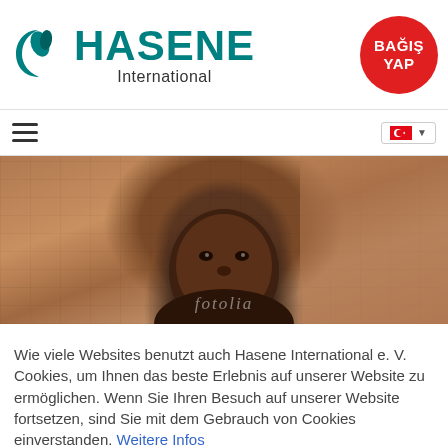[Figure (logo): Hasene International logo with teal crescent-and-leaf icon and teal HASENE text with International subtitle]
[Figure (other): Red circular button with white text BAĞIŞ YAP (Donate)]
[Figure (other): Hamburger menu icon (three horizontal lines)]
[Figure (other): Language selector showing Turkish flag with dropdown arrow]
[Figure (photo): Hero image of a young African child looking at camera against a brick wall background, with fotolia watermark]
Wie viele Websites benutzt auch Hasene International e. V. Cookies, um Ihnen das beste Erlebnis auf unserer Website zu ermöglichen. Wenn Sie Ihren Besuch auf unserer Website fortsetzen, sind Sie mit dem Gebrauch von Cookies einverstanden. Weitere Infos
Einverstanden